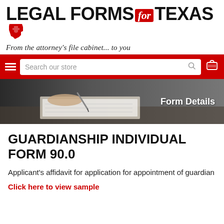[Figure (logo): Legal Forms for Texas logo with red Texas state shape icon and red 'for' badge]
From the attorney's file cabinet... to you
[Figure (screenshot): Red navigation bar with hamburger menu, search box reading 'Search our store', and shopping cart icon]
[Figure (photo): Person signing a document on a clipboard, with 'Form Details' text overlay on right side]
GUARDIANSHIP INDIVIDUAL FORM 90.0
Applicant's affidavit for application for appointment of guardian
Click here to view sample